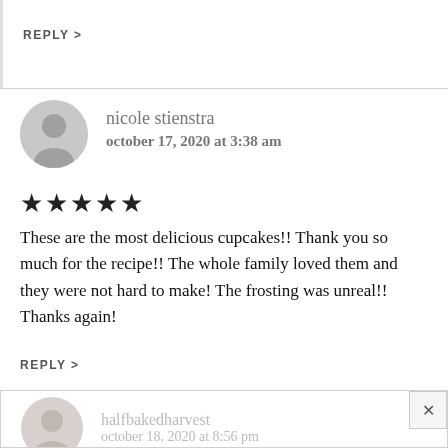REPLY >
nicole stienstra
october 17, 2020 at 3:38 am
★★★★★
These are the most delicious cupcakes!! Thank you so much for the recipe!! The whole family loved them and they were not hard to make! The frosting was unreal!! Thanks again!
REPLY >
halfbakedharvest
october 18, 2020 at 8:56 pm